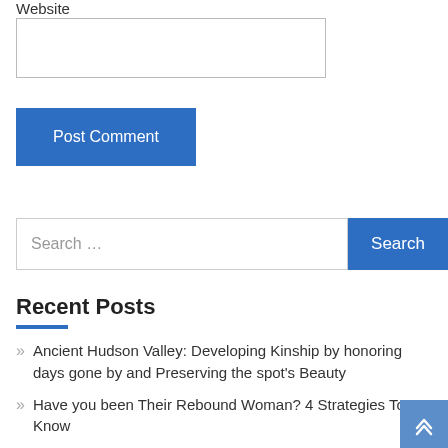Website
Post Comment
Search …
Recent Posts
Ancient Hudson Valley: Developing Kinship by honoring days gone by and Preserving the spot's Beauty
Have you been Their Rebound Woman? 4 Strategies To Know
Zoosk vs. Match.com